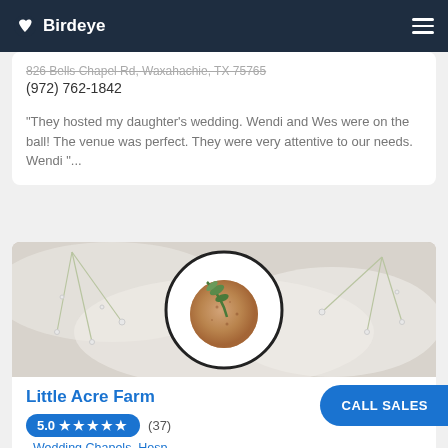Birdeye
826 Bells Chapel Rd, Waxahachie, TX 75165
(972) 762-1842
"They hosted my daughter's wedding. Wendi and Wes were on the ball! The venue was perfect. They were very attentive to our needs. Wendi "...
[Figure (photo): Overhead view of a latte coffee cup on a white plate with green leaves/herbs, surrounded by white fabric and baby's breath flowers]
Little Acre Farm
5.0 ★★★★★ (37)
· Wedding Chapels, Hosp
1534 Old Athens Rd #8854, Oakvale, WV 24739
(304) 920-9912